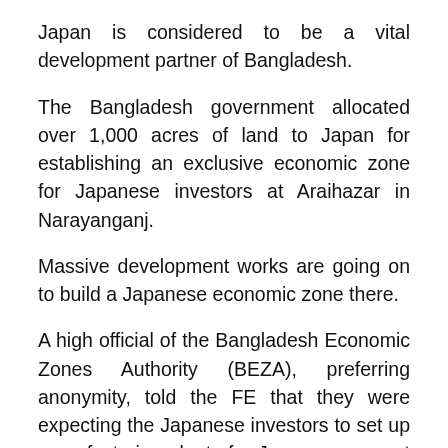Japan is considered to be a vital development partner of Bangladesh.
The Bangladesh government allocated over 1,000 acres of land to Japan for establishing an exclusive economic zone for Japanese investors at Araihazar in Narayanganj.
Massive development works are going on to build a Japanese economic zone there.
A high official of the Bangladesh Economic Zones Authority (BEZA), preferring anonymity, told the FE that they were expecting the Japanese investors to set up manufacturing plants for Japanese cars at the designated Japanese economic zone in Narayanganj.
Industries Minister Nurul Majid Mahmud Humayun, State Minister for Industries Kamal Ahmed Majumder,